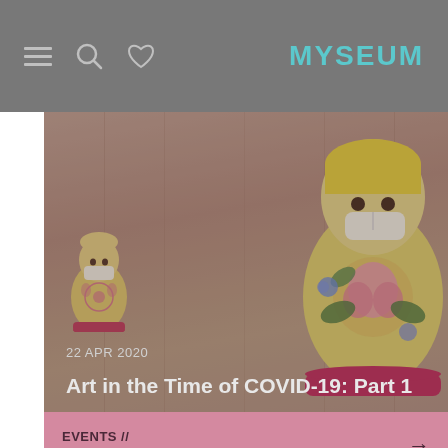MYSEUM
[Figure (photo): Two Russian matryoshka (nesting) dolls wearing face masks on a wooden surface. Small doll on the left, large doll on the right with floral decorations. Image has a dim overlay. Date overlay: 22 APR 2020. Title overlay: Art in the Time of COVID-19: Part 1]
EVENTS // TALK